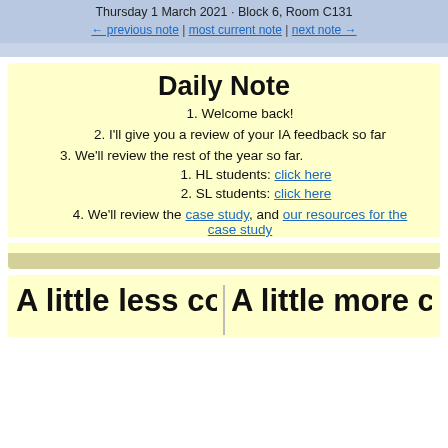Thursday 1 March 2021 · Block 6, Room C131
← previous note | most current note | next note →
Daily Note
Welcome back!
I'll give you a review of your IA feedback so far
We'll review the rest of the year so far.
HL students: click here
SL students: click here
We'll review the case study, and our resources for the case study
A little less co...  A little more ...